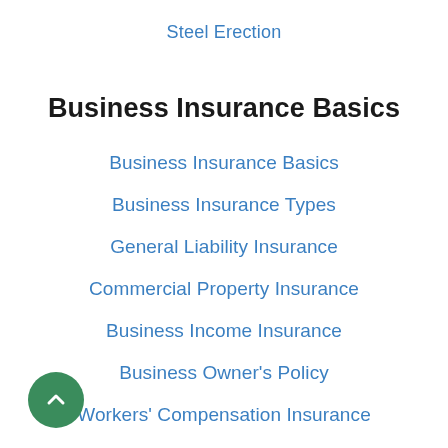Steel Erection
Business Insurance Basics
Business Insurance Basics
Business Insurance Types
General Liability Insurance
Commercial Property Insurance
Business Income Insurance
Business Owner's Policy
Workers' Compensation Insurance